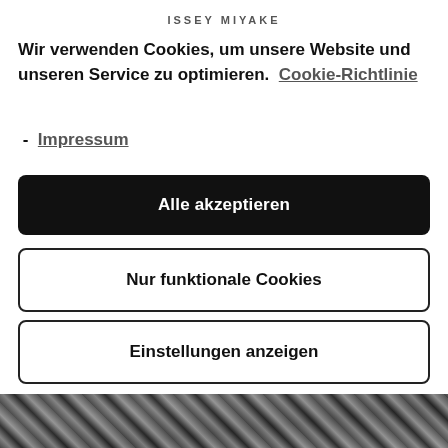ISSEY MIYAKE
Wir verwenden Cookies, um unsere Website und unseren Service zu optimieren.  Cookie-Richtlinie  -  Impressum
Alle akzeptieren
Nur funktionale Cookies
Einstellungen anzeigen
[Figure (photo): Partial view of a fashion photo at the bottom of the page, showing a model in patterned clothing]